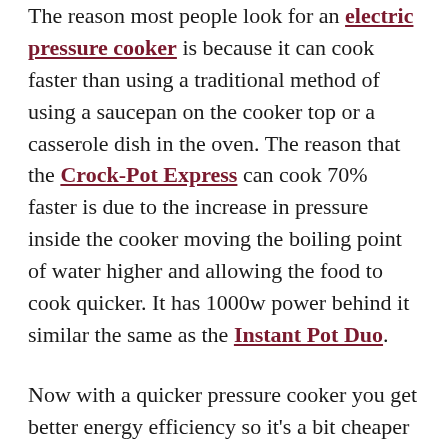The reason most people look for an electric pressure cooker is because it can cook faster than using a traditional method of using a saucepan on the cooker top or a casserole dish in the oven. The reason that the Crock-Pot Express can cook 70% faster is due to the increase in pressure inside the cooker moving the boiling point of water higher and allowing the food to cook quicker. It has 1000w power behind it similar the same as the Instant Pot Duo.
Now with a quicker pressure cooker you get better energy efficiency so it's a bit cheaper to use. You can cook a chicken in around 30 minutes, colour it up by searing it first in the